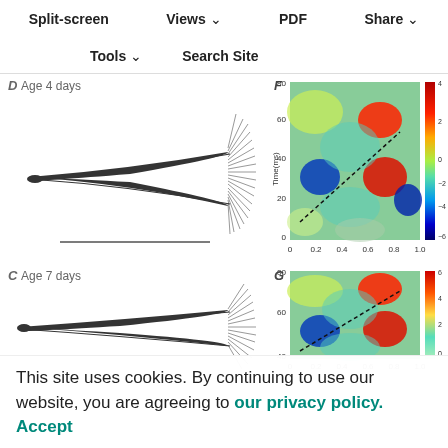Split-screen  Views  PDF  Share
Tools  Search Site
[Figure (illustration): Panel D: Age 4 days - fan-shaped radiating lines diagram (neural/anatomical illustration)]
[Figure (continuous-plot): Panel F: Color contour plot showing time-frequency data, x-axis 0 to 1.0, y-axis Time(ms) 0 to 80, color scale -6 to 4, with dashed diagonal line]
[Figure (illustration): Panel C: Age 7 days - fan-shaped radiating lines diagram (neural/anatomical illustration)]
[Figure (continuous-plot): Panel G: Color contour plot showing time-frequency data, x-axis 0 to 1.0, y-axis 40 to 80, color scale 0 to 6, with dashed diagonal line]
This site uses cookies. By continuing to use our website, you are agreeing to our privacy policy. Accept